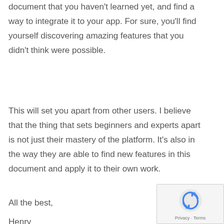document that you haven't learned yet, and find a way to integrate it to your app. For sure, you'll find yourself discovering amazing features that you didn't think were possible.
This will set you apart from other users. I believe that the thing that sets beginners and experts apart is not just their mastery of the platform. It's also in the way they are able to find new features in this document and apply it to their own work.
All the best,
Henry